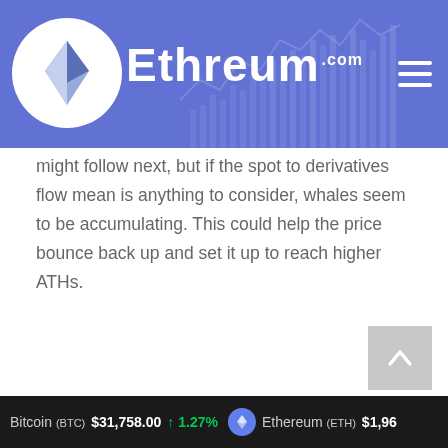Ethreum.com
might follow next, but if the spot to derivatives flow mean is anything to consider, whales seem to be accumulating. This could help the price bounce back up and set it up to reach higher ATHs.
Featured image from Unsplash.com, charts from TradingView.com, CryptoQuant.com
Bitcoin (BTC) $31,758.00 ↑ 1.27% Ethereum (ETH) $1,96